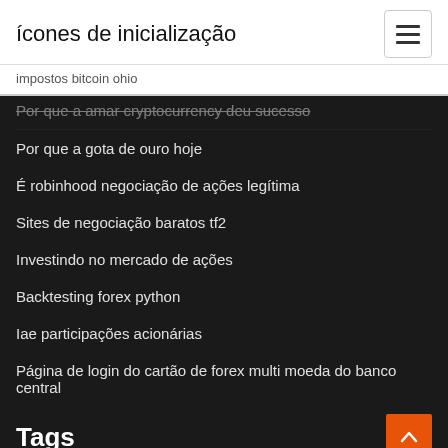ícones de inicialização
impostos bitcoin ohio
Por que a gota de ouro hoje
É robinhood negociação de ações legítima
Sites de negociação baratos tf2
Investindo no mercado de ações
Backtesting forex python
Iae participações acionárias
Página de login do cartão de forex multi moeda do banco central
Tags